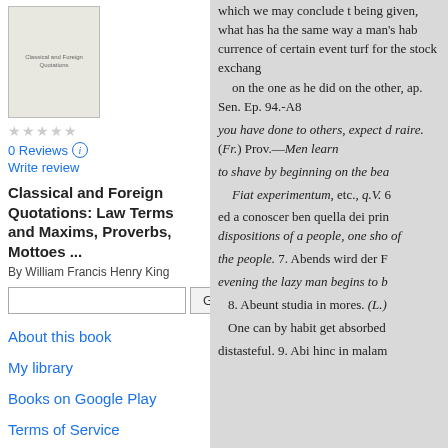[Figure (illustration): Book cover thumbnail for Classical and Foreign Quotations]
0 Reviews
Write review
Classical and Foreign Quotations: Law Terms and Maxims, Proverbs, Mottoes ...
By William Francis Henry King
[Search box] Go
About this book
My library
Books on Google Play
Terms of Service
which we may conclude t being given, what has ha the same way a man's hab currence of certain event turf for the stock exchang on the one as he did on the other, ap. Sen. Ep. 94.-A8 you have done to others, expect d raire. (Fr.) Prov.—Men learn to shave by beginning on the bea Fiat experimentum, etc., q.V. 6 ed a conoscer ben quella dei prin dispositions of a people, one sho of the people. 7. Abends wird der F evening the lazy man begins to b 8. Abeunt studia in mores. (L.) One can by habit get absorbed distasteful. 9. Abi hinc in malam